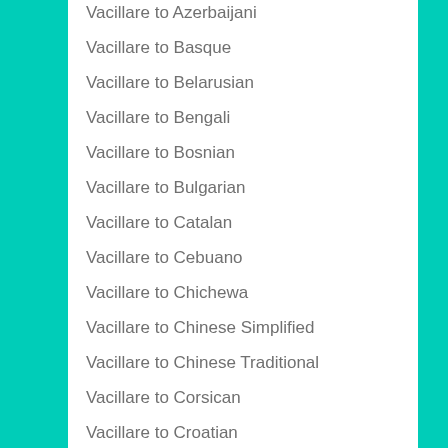Vacillare to Azerbaijani
Vacillare to Basque
Vacillare to Belarusian
Vacillare to Bengali
Vacillare to Bosnian
Vacillare to Bulgarian
Vacillare to Catalan
Vacillare to Cebuano
Vacillare to Chichewa
Vacillare to Chinese Simplified
Vacillare to Chinese Traditional
Vacillare to Corsican
Vacillare to Croatian
Vacillare to Czech